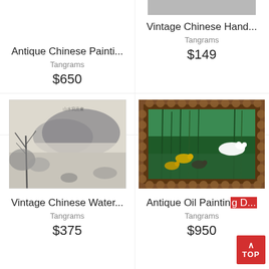[Figure (photo): Partial gray image at top right, mostly cropped]
Antique Chinese Painti...
Tangrams
$650
Vintage Chinese Hand...
Tangrams
$149
[Figure (photo): Vintage Chinese watercolor painting showing mountains, trees, river landscape in ink wash style]
[Figure (photo): Antique oil painting of swans/ducks in a pond with green reeds, in ornate carved wooden frame]
Vintage Chinese Water...
Tangrams
$375
Antique Oil Painting D...
Tangrams
$950